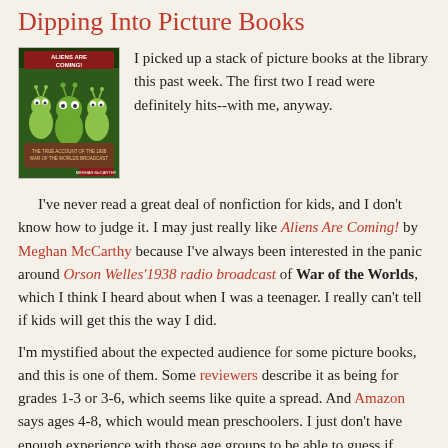Dipping Into Picture Books
[Figure (photo): Book cover of 'Aliens Are Coming!' featuring cartoon alien figures on a dark green background]
I picked up a stack of picture books at the library this past week. The first two I read were definitely hits--with me, anyway.

I've never read a great deal of nonfiction for kids, and I don't know how to judge it. I may just really like Aliens Are Coming! by Meghan McCarthy because I've always been interested in the panic around Orson Welles'1938 radio broadcast of War of the Worlds, which I think I heard about when I was a teenager. I really can't tell if kids will get this the way I did.

I'm mystified about the expected audience for some picture books, and this is one of them. Some reviewers describe it as being for grades 1-3 or 3-6, which seems like quite a spread. And Amazon says ages 4-8, which would mean preschoolers. I just don't have enough experience with those age groups to be able to guess if younger kids will get it or if older kids, who might be more likely to get it) will be willing to read a picture book.